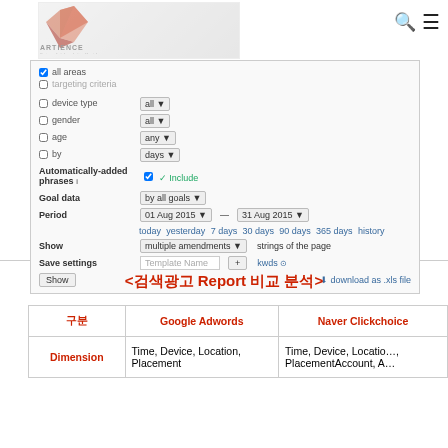[Figure (screenshot): Screenshot of a web analytics UI (Artience branding) showing filter settings: device type, gender, age, by fields with dropdowns, Automatically-added phrases checkbox, Goal data dropdown, Period date range (01 Aug 2015 - 31 Aug 2015) with quick links (today, yesterday, 7 days, 30 days, 90 days, 365 days, history), Show dropdown for multiple amendments, Save settings field with Template name input, + button, kwds link, Show button, and download as .xls file link.]
<검색광고 Report 비교 분석>
| 구분 | Google Adwords | Naver Clickchoice |
| --- | --- | --- |
| Dimension | Time, Device, Location, Placement | Time, Device, Location, PlacementAccount, A… |